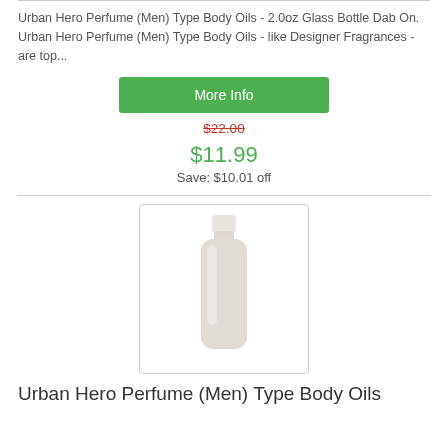Urban Hero Perfume (Men) Type Body Oils - 2.0oz Glass Bottle Dab On. Urban Hero Perfume (Men) Type Body Oils - like Designer Fragrances - are top...
More Info
$22.00
$11.99
Save: $10.01 off
[Figure (photo): A white plastic bottle with a white flip cap, standing upright on a white background, inside a rounded rectangle border.]
Urban Hero Perfume (Men) Type Body Oils